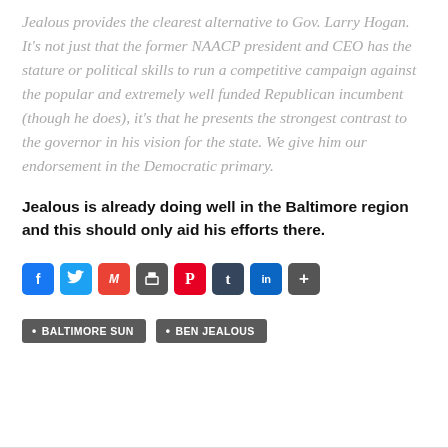Jealous provides the clearest alternative to Gov. Larry Hogan. It's not just that the former NAACP president and CEO has the stature or political skills to run a competitive campaign against the popular and extremely well funded Republican incumbent (though he does), it's that he presents the strongest contrast to the governor in his vision for the state. We give him our endorsement in the Democratic primary.
Jealous is already doing well in the Baltimore region and this should only aid his efforts there.
[Figure (other): Social media sharing icons row: Facebook, Twitter, Gmail, Print, Pinterest, Tumblr, LinkedIn, More (+)]
• BALTIMORE SUN   • BEN JEALOUS